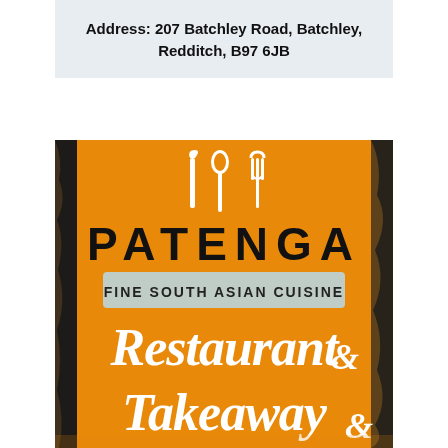Address: 207 Batchley Road, Batchley, Redditch, B97 6JB
[Figure (logo): Patenga restaurant logo on orange distressed background with knife, spoon and fork icons, bold text PATENGA, subtitle FINE SOUTH ASIAN CUISINE in a light blue banner, and handwritten-style text RESTAURANT & TAKEAWAY]